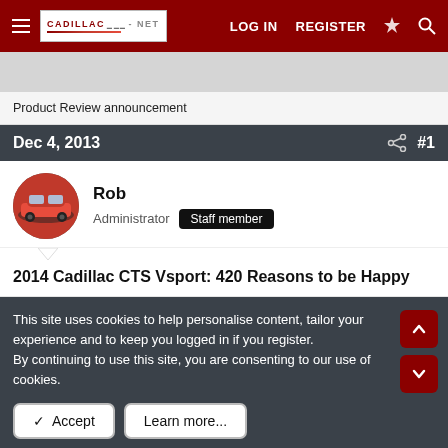Cadillac-Net — LOG IN  REGISTER
Product Review announcement
Dec 4, 2013  #1
Rob
Administrator  Staff member
2014 Cadillac CTS Vsport: 420 Reasons to be Happy
This site uses cookies to help personalise content, tailor your experience and to keep you logged in if you register.
By continuing to use this site, you are consenting to our use of cookies.
✓ Accept   Learn more...